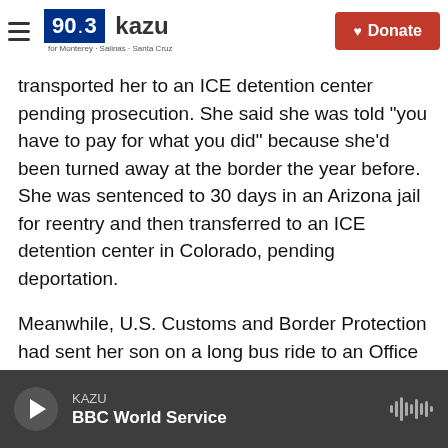[Figure (screenshot): KAZU 90.3 radio station website header with logo, hamburger menu, and Donate button over a coastal landscape banner image]
transported her to an ICE detention center pending prosecution. She said she was told "you have to pay for what you did" because she'd been turned away at the border the year before. She was sentenced to 30 days in an Arizona jail for reentry and then transferred to an ICE detention center in Colorado, pending deportation.
Meanwhile, U.S. Customs and Border Protection had sent her son on a long bus ride to an Office of Refugee Resettlement shelter in Arizona, where his only means of communication was drawing pictures.
KAZU / BBC World Service